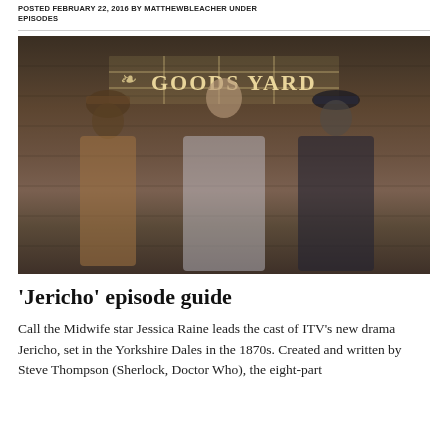POSTED FEBRUARY 22, 2016 BY MATTHEWBLEACHER UNDER EPISODES
[Figure (photo): Three cast members of the ITV drama Jericho posing in front of a wooden wall with a 'GOODS YARD' sign. Left: a Black male actor wearing a hat and brown vest over cream shirt. Center: a woman with long dark hair wearing a white blouse and grey-blue skirt. Right: a male actor in a dark jacket and black flat-brimmed hat.]
'Jericho' episode guide
Call the Midwife star Jessica Raine leads the cast of ITV's new drama Jericho, set in the Yorkshire Dales in the 1870s. Created and written by Steve Thompson (Sherlock, Doctor Who), the eight-part